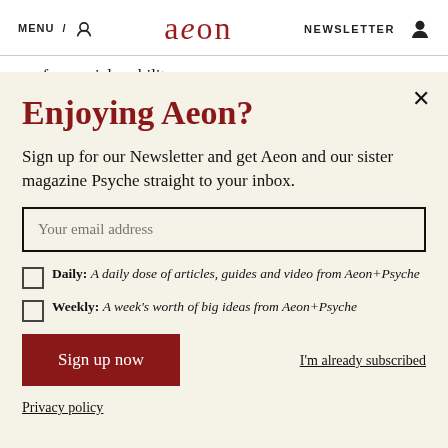MENU / [search icon]   aeon   NEWSLETTER [user icon]
confers social mobility.
Enjoying Aeon?
Sign up for our Newsletter and get Aeon and our sister magazine Psyche straight to your inbox.
Your email address
Daily: A daily dose of articles, guides and video from Aeon+Psyche
Weekly: A week's worth of big ideas from Aeon+Psyche
Sign up now
I'm already subscribed
Privacy policy